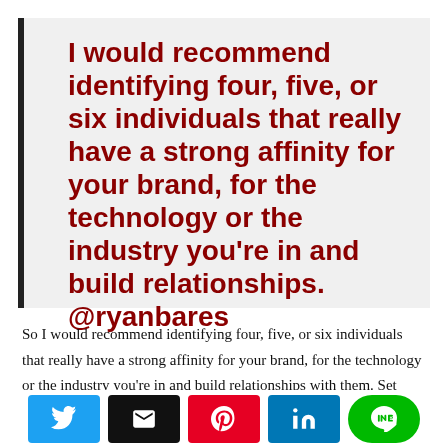[Figure (infographic): Pull quote box with dark left border on light gray background. Bold dark red text reads: I would recommend identifying four, five, or six individuals that really have a strong affinity for your brand, for the technology or the industry you're in and build relationships. @ryanbares]
So I would recommend identifying four, five, or six individuals that really have a strong affinity for your brand, for the technology or the industry you're in and build relationships with them. Set goals with them and kind of build this sort of advocacy program and grow it from there.
[Figure (infographic): Social share bar with five buttons: Twitter (blue bird icon), Email (black envelope icon), Pinterest (red P icon), LinkedIn (blue in icon), LINE (green circle with LINE logo)]